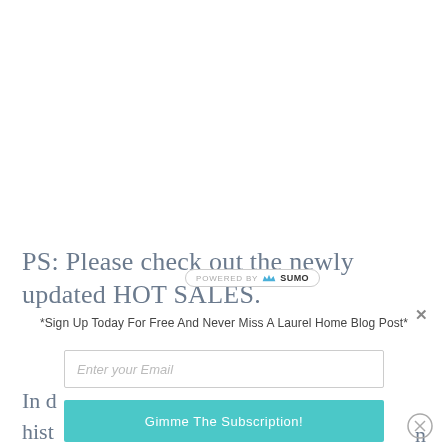PS: Please check out the newly updated HOT SALES.
*Sign Up Today For Free And Never Miss A Laurel Home Blog Post*
Enter your Email
Gimme The Subscription!
In d
hist                                        n